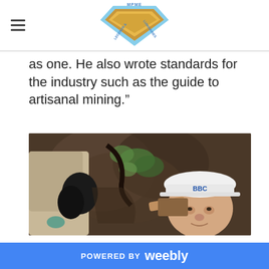MPME Legends & Luminaries logo
as one. He also wrote standards for the industry such as the guide to artisanal mining.”
[Figure (photo): A man wearing a white hard hat labeled 'BBC' examining a rock face in what appears to be a mine tunnel. The rock wall shows green mineral deposits. The photo is taken underground with another person partially visible on the left.]
POWERED BY weebly